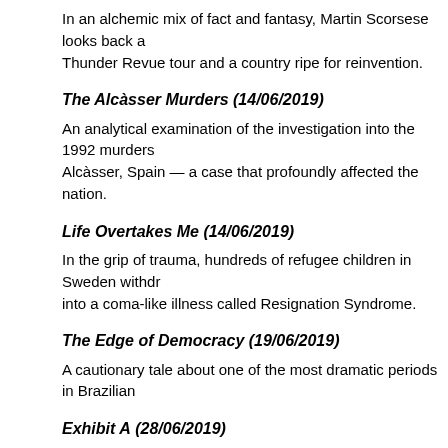In an alchemic mix of fact and fantasy, Martin Scorsese looks back at the Rolling Thunder Revue tour and a country ripe for reinvention.
The Alcàsser Murders (14/06/2019)
An analytical examination of the investigation into the 1992 murders of three girls in Alcàsser, Spain — a case that profoundly affected the nation.
Life Overtakes Me (14/06/2019)
In the grip of trauma, hundreds of refugee children in Sweden withdraw into a coma-like illness called Resignation Syndrome.
The Edge of Democracy (19/06/2019)
A cautionary tale about one of the most dramatic periods in Brazilian…
Exhibit A (28/06/2019)
This true crime series shows how innocent people have been convicted using tools and techniques such as cadaver dogs and touch DNA.
Original Series for Kids